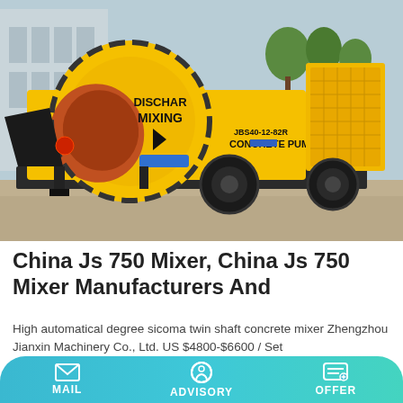[Figure (photo): Yellow concrete mixer truck/pump machine labeled 'DISCHAR MIXING' and 'JBS40-12-82R CONCRETE PUMP' in outdoor setting]
China Js 750 Mixer, China Js 750 Mixer Manufacturers And
High automatical degree sicoma twin shaft concrete mixer Zhengzhou Jianxin Machinery Co., Ltd. US $4800-$6600 / Set
Learn More
MAIL | ADVISORY | OFFER